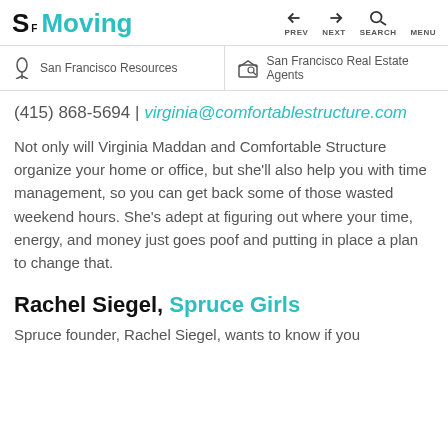SF Moving — PREV NEXT SEARCH MENU
San Francisco Resources | San Francisco Real Estate Agents
(415) 868-5694 | virginia@comfortablestructure.com
Not only will Virginia Maddan and Comfortable Structure organize your home or office, but she'll also help you with time management, so you can get back some of those wasted weekend hours. She's adept at figuring out where your time, energy, and money just goes poof and putting in place a plan to change that.
Rachel Siegel, Spruce Girls
Spruce founder, Rachel Siegel, wants to know if you